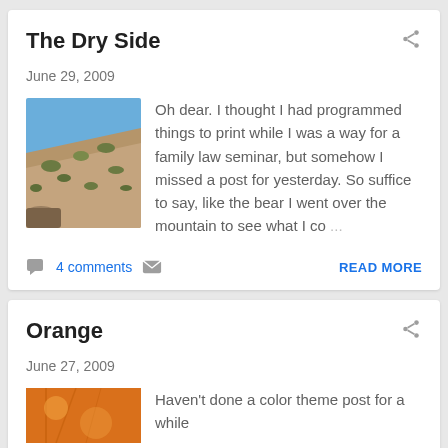The Dry Side
June 29, 2009
[Figure (photo): Dry hillside with sparse desert shrubs and blue sky]
Oh dear. I thought I had programmed things to print while I was a way for a family law seminar, but somehow I missed a post for yesterday. So suffice to say, like the bear I went over the mountain to see what I co ...
4 comments
READ MORE
Orange
June 27, 2009
[Figure (photo): Orange colored image, partial view]
Haven't done a color theme post for a while